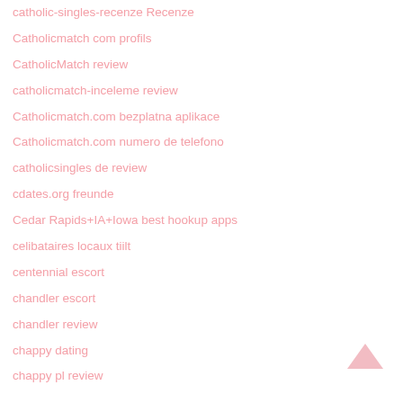catholic-singles-recenze Recenze
Catholicmatch com profils
CatholicMatch review
catholicmatch-inceleme review
Catholicmatch.com bezplatna aplikace
Catholicmatch.com numero de telefono
catholicsingles de review
cdates.org freunde
Cedar Rapids+IA+Iowa best hookup apps
celibataires locaux tiilt
centennial escort
chandler escort
chandler review
chappy dating
chappy pl review
[Figure (other): Back to top arrow icon]